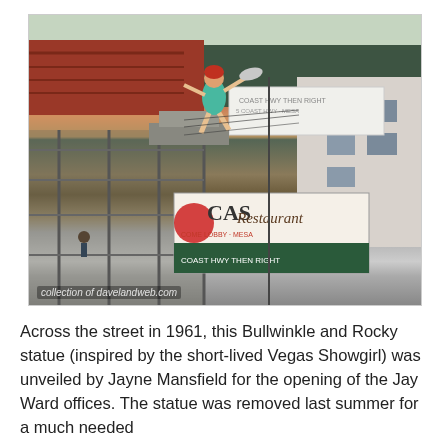[Figure (photo): Vintage color photograph showing a large showgirl statue atop a building or sign structure in what appears to be Las Vegas, 1961. The statue depicts a woman in a turquoise costume in a dynamic pose. Below is a sign reading 'CAS Restaurant'. Watermark reads 'collection of davelandweb.com'.]
Across the street in 1961, this Bullwinkle and Rocky statue (inspired by the short-lived Vegas Showgirl) was unveiled by Jayne Mansfield for the opening of the Jay Ward offices. The statue was removed last summer for a much needed refurbishment. it was replaced by a new one.